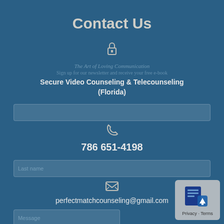Contact Us
[Figure (illustration): Lock icon (padlock) in light grey/beige color]
The Art of Loving Communication
Sign up for our newsletter and receive your free e-book
Secure Video Counseling & Telecounseling (Florida)
[Figure (illustration): Phone/telephone handset icon in light beige color]
786 651-4198
[Figure (illustration): Email/envelope icon in light beige color]
perfectmatchcounseling@gmail.com
SUBSCRIBE
Subscribe Now
[Figure (screenshot): Privacy/Terms badge in lower right corner showing a blue document icon and text 'Privacy - Terms']